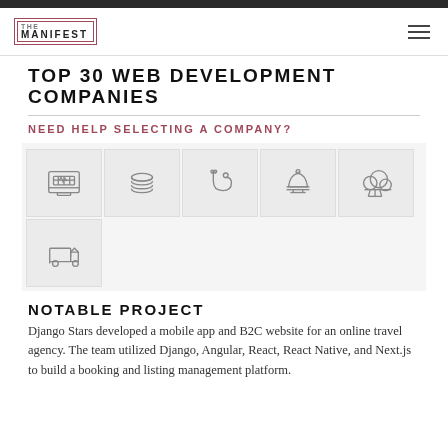THE MANIFEST
TOP 30 WEB DEVELOPMENT COMPANIES
NEED HELP SELECTING A COMPANY?
[Figure (infographic): Six industry icons in a grid: e-commerce shopping cart screen, stacked coins/database, medical stethoscope, hotel service bell, cloud computing tree, and delivery truck]
NOTABLE PROJECT
Django Stars developed a mobile app and B2C website for an online travel agency. The team utilized Django, Angular, React, React Native, and Next.js to build a booking and listing management platform.